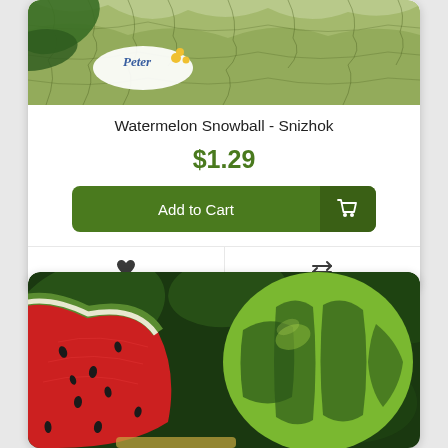[Figure (photo): Top portion of a watermelon with a Peter seed company label, green textured rind with a white oval label showing 'Peter' in cursive with yellow flowers]
Watermelon Snowball - Snizhok
$1.29
Add to Cart
[Figure (photo): Watermelon product photo showing a cut watermelon half with bright red flesh and seeds on the left, and a whole round striped watermelon with green and dark green stripes on the right, surrounded by green leaves]